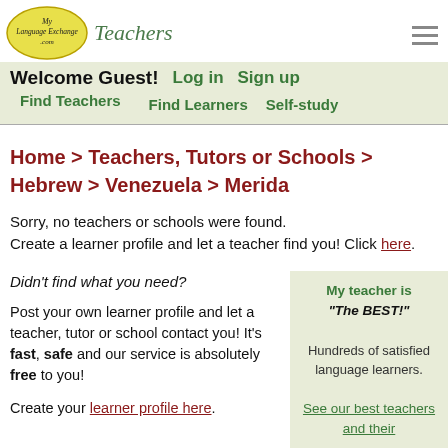MyLanguageExchange.com Teachers
Welcome Guest! Log in Sign up
Find Teachers Find Learners Self-study
Home > Teachers, Tutors or Schools > Hebrew > Venezuela > Merida
Sorry, no teachers or schools were found. Create a learner profile and let a teacher find you! Click here.
Didn't find what you need?
Post your own learner profile and let a teacher, tutor or school contact you! It's fast, safe and our service is absolutely free to you!
Create your learner profile here.
My teacher is "The BEST!" Hundreds of satisfied language learners. See our best teachers and their